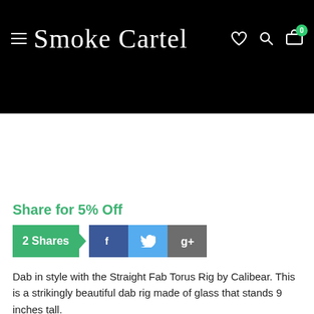Smoke Cartel
[Figure (screenshot): Black navigation bar area below header, empty product image space]
Share for 5% Off
[Figure (infographic): Share buttons bar with 2 Shares count, Facebook, Twitter, and Google+ buttons]
Dab in style with the Straight Fab Torus Rig by Calibear. This is a strikingly beautiful dab rig made of glass that stands 9 inches tall.